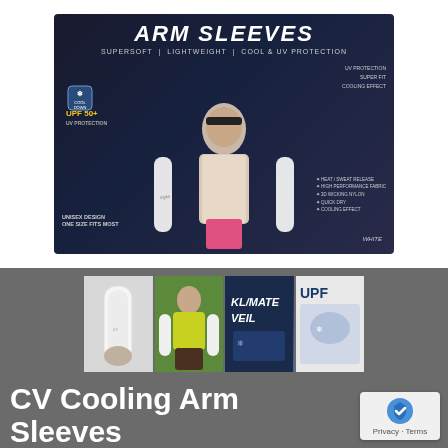[Figure (photo): Product packaging for CV Cooling Arm Sleeves showing athletes wearing white arm sleeves on dark blue background. Text reads ARM SLEEVES, SUPERSOFT | LIGHTWEIGHT | COOL & UV PROTECTION, UPF 50+, COOL DOWN, UNISEX DESIGN ONE SIZE FITS MOST, WHITE]
[Figure (photo): Four thumbnail product images: white arm sleeves on arm, person wearing yellow shirt with white arm sleeves, Climate Veil brand logo on dark background, UPF product packaging]
CV Cooling Arm Sleeves 2 Pack
[Figure (logo): reCAPTCHA badge with Privacy and Terms links]